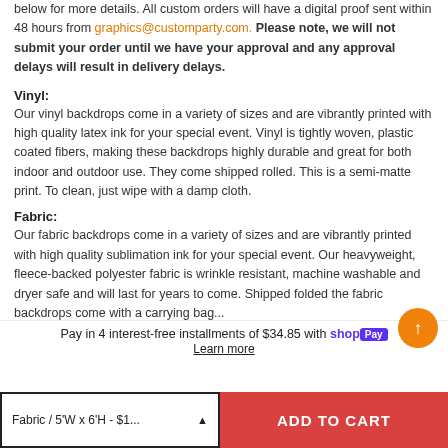below for more details. All custom orders will have a digital proof sent within 48 hours from graphics@customparty.com. Please note, we will not submit your order until we have your approval and any approval delays will result in delivery delays.
Vinyl:
Our vinyl backdrops come in a variety of sizes and are vibrantly printed with high quality latex ink for your special event. Vinyl is tightly woven, plastic coated fibers, making these backdrops highly durable and great for both indoor and outdoor use. They come shipped rolled. This is a semi-matte print. To clean, just wipe with a damp cloth.
Fabric:
Our fabric backdrops come in a variety of sizes and are vibrantly printed with high quality sublimation ink for your special event. Our heavyweight, fleece-backed polyester fabric is wrinkle resistant, machine washable and dryer safe and will last for years to come. Shipped folded the fabric backdrops come with a carrying bag...
Pay in 4 interest-free installments of $34.85 with shopPay Learn more
Fabric / 5'W x 6'H - $1...
ADD TO CART